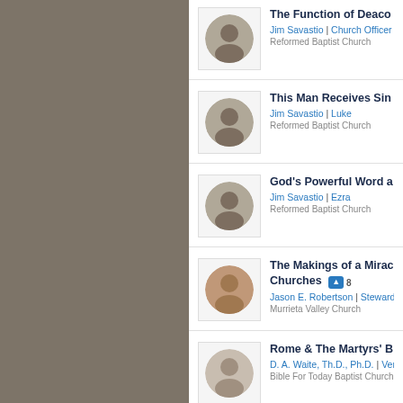The Function of Deaco... | Jim Savastio | Church Officer... | Reformed Baptist Church
This Man Receives Sin... | Jim Savastio | Luke | Reformed Baptist Church
God's Powerful Word a... | Jim Savastio | Ezra | Reformed Baptist Church
The Makings of a Mira...Churches [8 comments] | Jason E. Robertson | Steward... | Murrieta Valley Church
Rome & The Martyrs' B... | D. A. Waite, Th.D., Ph.D. | Ver... | Bible For Today Baptist Church